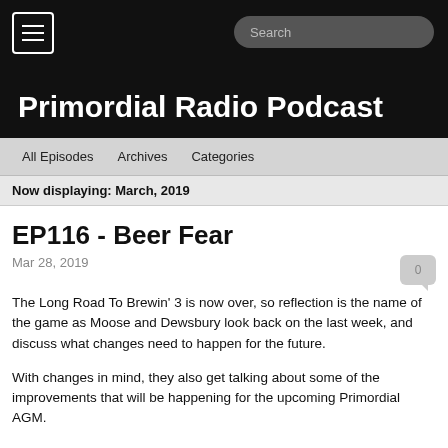Primordial Radio Podcast
All Episodes   Archives   Categories
Now displaying: March, 2019
EP116 - Beer Fear
Mar 28, 2019
The Long Road To Brewin' 3 is now over, so reflection is the name of the game as Moose and Dewsbury look back on the last week, and discuss what changes need to happen for the future.
With changes in mind, they also get talking about some of the improvements that will be happening for the upcoming Primordial AGM.